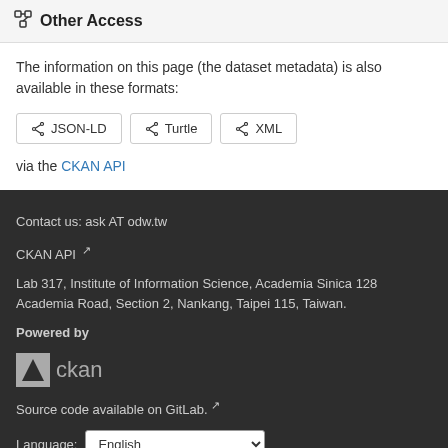Other Access
The information on this page (the dataset metadata) is also available in these formats:
JSON-LD  Turtle  XML
via the CKAN API
Contact us: ask AT odw.tw
CKAN API
Lab 317, Institute of Information Science, Academia Sinica 128 Academia Road, Section 2, Nankang, Taipei 115, Taiwan.
Powered by
ckan
Source code available on GitLab.
Language: English